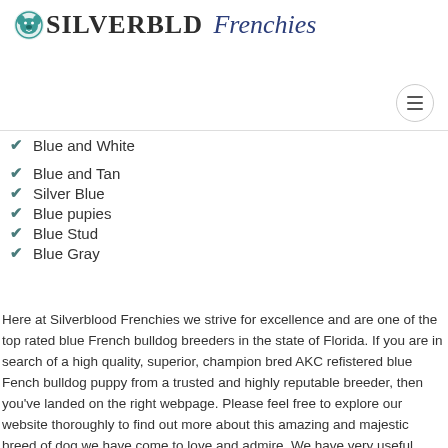[Figure (logo): Silverblood Frenchies logo with teal French bulldog icon between 'SILVERBL' and 'D', followed by italic 'Frenchies' in dark blue]
Blue and White
Blue and Tan
Silver Blue
Blue pupies
Blue Stud
Blue Gray
Here at Silverblood Frenchies we strive for excellence and are one of the top rated blue French bulldog breeders in the state of Florida. If you are in search of a high quality, superior, champion bred AKC refistered blue Fench bulldog puppy from a trusted and highly reputable breeder, then you've landed on the right webpage. Please feel free to explore our website thoroughly to find out more about this amazing and majestic breed of dog we have come to love and admire. We have very useful information scattered about our website to give you a better understanding of what it is to own a french bulldog and how to care for them.